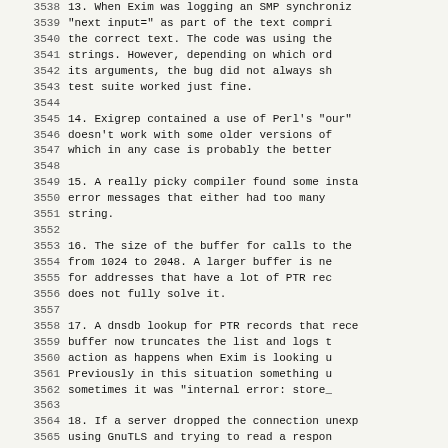Lines 3538-3570: Bug fix list items 13-19 from a software changelog (Exim mail server). Line numbers shown on left, content on right in monospace.